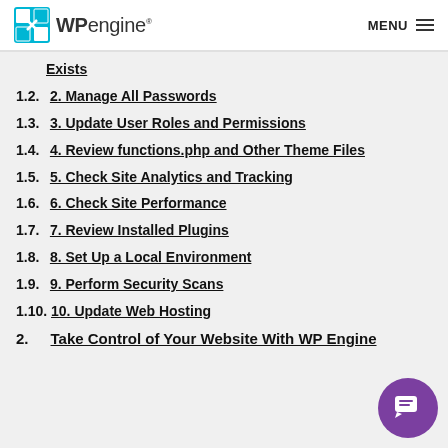WP engine — MENU
Exists
1.2.  2. Manage All Passwords
1.3.  3. Update User Roles and Permissions
1.4.  4. Review functions.php and Other Theme Files
1.5.  5. Check Site Analytics and Tracking
1.6.  6. Check Site Performance
1.7.  7. Review Installed Plugins
1.8.  8. Set Up a Local Environment
1.9.  9. Perform Security Scans
1.10.  10. Update Web Hosting
2.   Take Control of Your Website With WP Engine